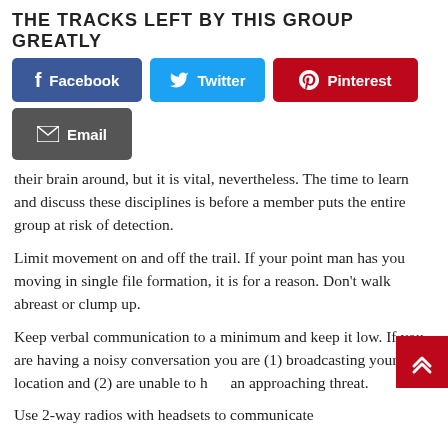THE TRACKS LEFT BY THIS GROUP GREATLY
[Figure (infographic): Social share buttons: Facebook (blue), Twitter (cyan), Pinterest (red), Email (dark gray)]
their brain around, but it is vital, nevertheless. The time to learn and discuss these disciplines is before a member puts the entire group at risk of detection.
Limit movement on and off the trail. If your point man has you moving in single file formation, it is for a reason. Don't walk abreast or clump up.
Keep verbal communication to a minimum and keep it low. If you are having a noisy conversation you are (1) broadcasting your location and (2) are unable to hear an approaching threat.
Use 2-way radios with headsets to communicate